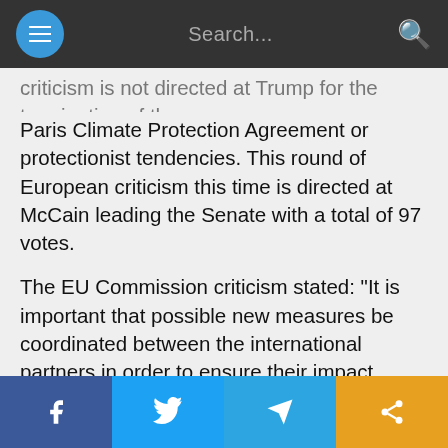Search...
criticism is not directed at Trump for the termination of the Paris Climate Protection Agreement or protectionist tendencies. This round of European criticism this time is directed at McCain leading the Senate with a total of 97 votes.
The EU Commission criticism stated: "It is important that possible new measures be coordinated between the international partners in order to ensure their impact internationally and to ensure the unity of the partners in the sanctions." McCain seems to be getting rewarded under the table as always, for the sanctions would punish Russia while promoting American gas exports and jobs in Europe give the USA now a net exporter of liquefied gas and is thus competing with the Russian gas delivered by pipelines to
f  [Twitter bird]  [Telegram]  [Share]